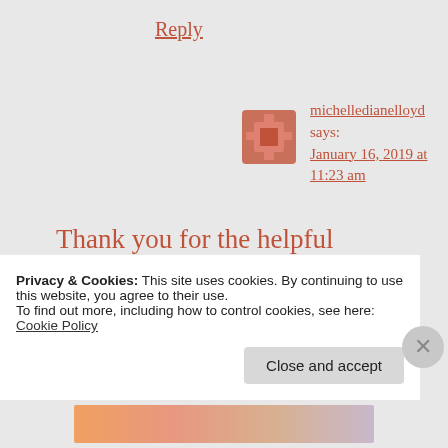Reply
michelledianelloyd says: January 16, 2019 at 11:23 am
Thank you for the helpful response, very much appreciated. I'll definitely have a look at these books.
Privacy & Cookies: This site uses cookies. By continuing to use this website, you agree to their use.
To find out more, including how to control cookies, see here:
Cookie Policy
Close and accept